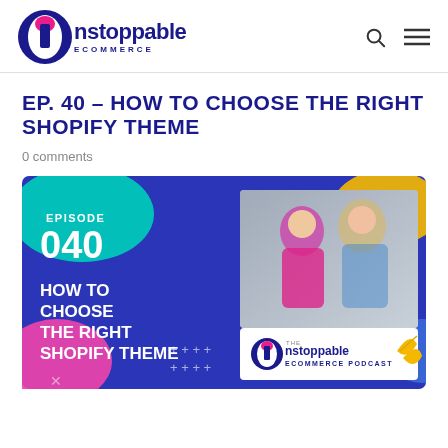Unstoppable ECOMMERCE
EP. 40 – HOW TO CHOOSE THE RIGHT SHOPIFY THEME
0 comments
[Figure (illustration): Episode 040 podcast card for Unstoppable Ecommerce Podcast — colorful blue background with teal and pink blob shapes, yellow accents, decorative plus signs and swirls. Text reads: EPISODE 040, HOW TO CHOOSE THE RIGHT SHOPIFY THEME. Right side shows photo of two women smiling, one with pink hair, one with blonde hair. Bottom right shows Unstoppable Ecommerce Podcast logo.]